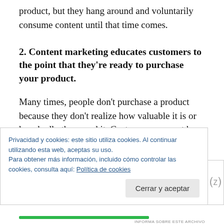product, but they hang around and voluntarily consume content until that time comes.
2. Content marketing educates customers to the point that they’re ready to purchase your product.
Many times, people don’t purchase a product because they don’t realize how valuable it is or how badly they need it. Customers may not buy from a company that sells direct mail solutions
Privacidad y cookies: este sitio utiliza cookies. Al continuar utilizando esta web, aceptas su uso.
Para obtener más información, incluido cómo controlar las cookies, consulta aquí: Política de cookies
Cerrar y aceptar